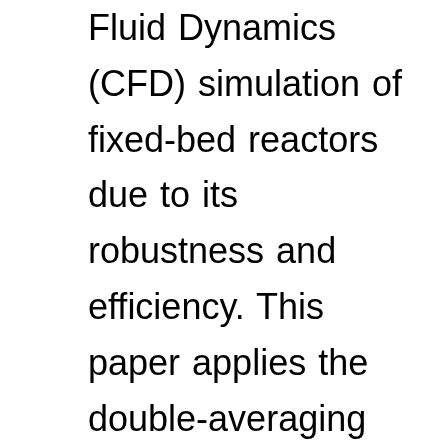Fluid Dynamics (CFD) simulation of fixed-bed reactors due to its robustness and efficiency. This paper applies the double-averaging methodology to refine the mathematical basis for the continuum approach, opening a way to alleviate its main limitations: space-invariant averaging volume and inaccurate treatment of the porous/non-porous